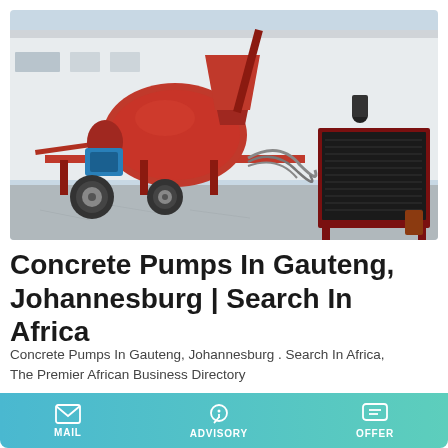[Figure (photo): Red concrete pump machine with mixer drum on a trailer, parked outside a white building. Separate hydraulic power unit on the right.]
Concrete Pumps In Gauteng, Johannesburg | Search In Africa
Concrete Pumps In Gauteng, Johannesburg . Search In Africa, The Premier African Business Directory
Learn More
MAIL   ADVISORY   OFFER